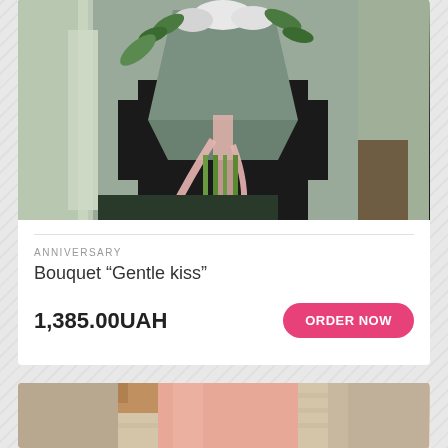[Figure (photo): Person holding a flower bouquet wrapped in gray paper with a pink ribbon, standing in a doorway. Green foliage visible at top.]
ANNIVERSARY
Bouquet “Gentle kiss”
1,385.00UAH
ORDER NOW
[Figure (photo): Person in beige sweater holding a pink/peach wrapped flower bouquet, partial view.]